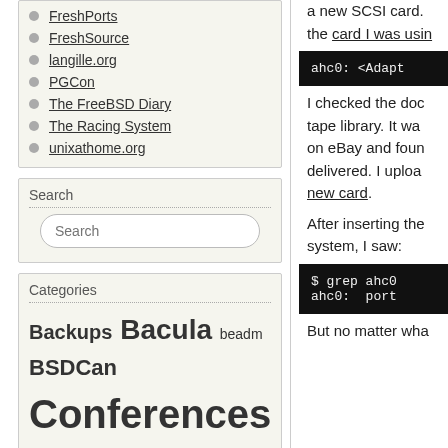FreshPorts
FreshSource
langille.org
PGCon
The FreeBSD Diary
The Racing System
unixathome.org
Search
Categories
Backups Bacula beadm BSDCan Conferences cvsup DELL Disks DNS ezjail File Systems FreeBSD freebsd-update FreshPorts ftp General hardware
a new SCSI card. the card I was usin
[Figure (screenshot): Code block showing: ahc0: <Adapt]
I checked the docu tape library. It was on eBay and foun delivered. I uploa new card.
After inserting the system, I saw:
[Figure (screenshot): Terminal code block: $ grep ahc0 / ahc0: port]
But no matter wha